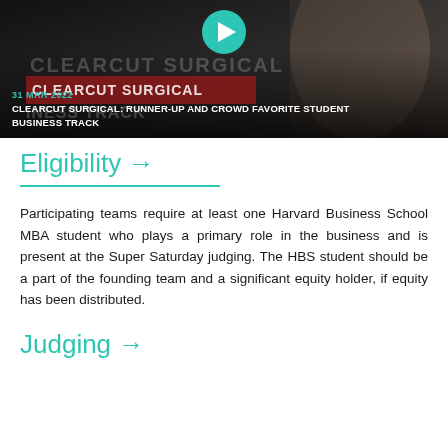[Figure (screenshot): Video thumbnail showing a man in a suit with 'CLEARCUT SURGICAL' text, a teal play button, date '31 MAR 2022', and title 'CLEARCUT SURGICAL: RUNNER-UP AND CROWD FAVORITE STUDENT BUSINESS TRACK']
Eligibility →
Participating teams require at least one Harvard Business School MBA student who plays a primary role in the business and is present at the Super Saturday judging. The HBS student should be a part of the founding team and a significant equity holder, if equity has been distributed.
Judging →